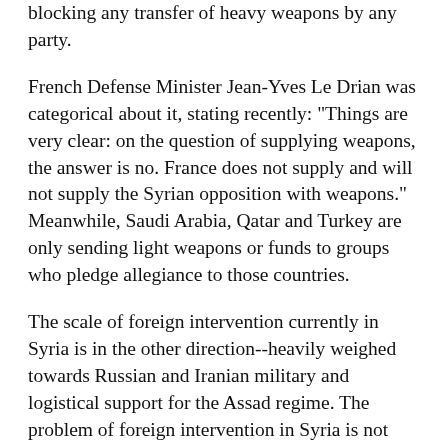blocking any transfer of heavy weapons by any party.
French Defense Minister Jean-Yves Le Drian was categorical about it, stating recently: "Things are very clear: on the question of supplying weapons, the answer is no. France does not supply and will not supply the Syrian opposition with weapons." Meanwhile, Saudi Arabia, Qatar and Turkey are only sending light weapons or funds to groups who pledge allegiance to those countries.
The scale of foreign intervention currently in Syria is in the other direction--heavily weighed towards Russian and Iranian military and logistical support for the Assad regime. The problem of foreign intervention in Syria is not due to Syrian revolutionary fighters who accept weapons from the outside in order to protect themselves and engage the regime's forces.
But regardless of the debates for or against intervention in Syria, it's obvious that Western